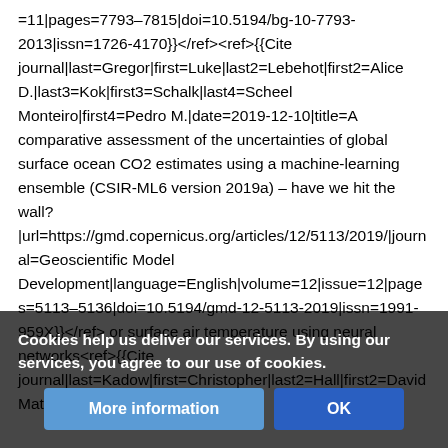=11|pages=7793–7815|doi=10.5194/bg-10-7793-2013|issn=1726-4170}}</ref><ref>{{Cite journal|last=Gregor|first=Luke|last2=Lebehot|first2=Alice D.|last3=Kok|first3=Schalk|last4=Scheel Monteiro|first4=Pedro M.|date=2019-12-10|title=A comparative assessment of the uncertainties of global surface ocean CO2 estimates using a machine-learning ensemble (CSIR-ML6 version 2019a) – have we hit the wall?|url=https://gmd.copernicus.org/articles/12/5113/2019/|journal=Geoscientific Model Development|language=English|volume=12|issue=12|pages=5113–5136|doi=10.5194/gmd-12-5113-2019|issn=1991-959X}}</ref> or surface air temperature using neural networks<ref>{{Cite journal|last=Kadow|first=Christopher|last2=Hall|first2=David Matthew|last=...
Cookies help us deliver our services. By using our services, you agree to our use of cookies.
More information | OK